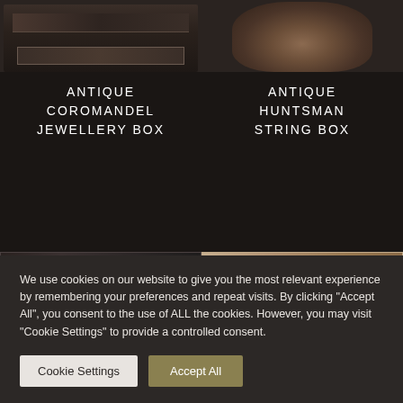[Figure (photo): Antique coromandel jewellery box with open drawer, top-left product image]
[Figure (photo): Antique huntsman string box bronze bust sculpture, top-right product image]
ANTIQUE COROMANDEL JEWELLERY BOX
ANTIQUE HUNTSMAN STRING BOX
[Figure (photo): Partial bottom-left product image, dark object]
[Figure (photo): Partial bottom-right product image, wooden/tan object]
We use cookies on our website to give you the most relevant experience by remembering your preferences and repeat visits. By clicking "Accept All", you consent to the use of ALL the cookies. However, you may visit "Cookie Settings" to provide a controlled consent.